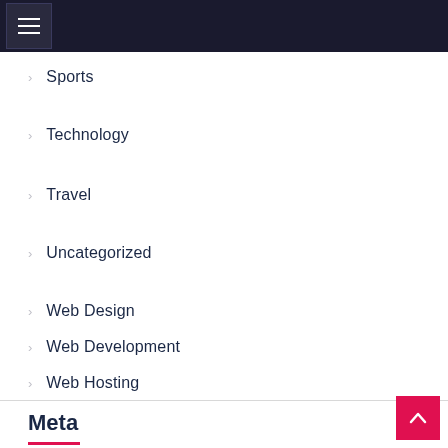[Figure (screenshot): Dark navigation bar with hamburger menu icon]
Sports
Technology
Travel
Uncategorized
Web Design
Web Development
Web Hosting
Meta